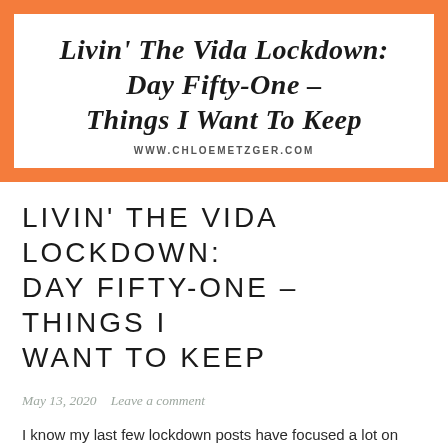Livin' The Vida Lockdown: Day Fifty-One – Things I Want To Keep
WWW.CHLOEMETZGER.COM
LIVIN' THE VIDA LOCKDOWN: DAY FIFTY-ONE – THINGS I WANT TO KEEP
May 13, 2020   Leave a comment
I know my last few lockdown posts have focused a lot on struggles that I've had in particular. I think it's a pretty accurate representation of where my brain has been for a little while. We're over 50 days in now and that is a long